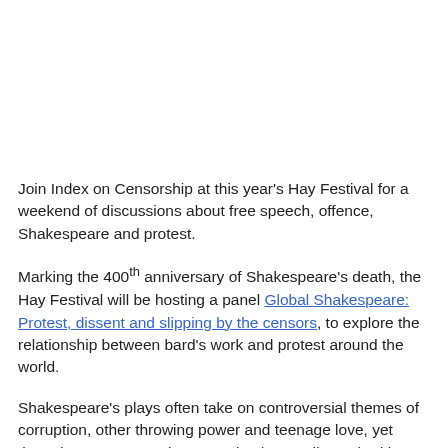Join Index on Censorship at this year's Hay Festival for a weekend of discussions about free speech, offence, Shakespeare and protest.
Marking the 400th anniversary of Shakespeare's death, the Hay Festival will be hosting a panel Global Shakespeare: Protest, dissent and slipping by the censors, to explore the relationship between bard's work and protest around the world.
Shakespeare's plays often take on controversial themes of corruption, other throwing power and teenage love, yet these issues may not have received an audience had it not been for the cloak of the bard's respectability.
Index on Censorship magazine editor Rachael Jolley will be joined by The Times' David Aaronovitch, who is also the chair